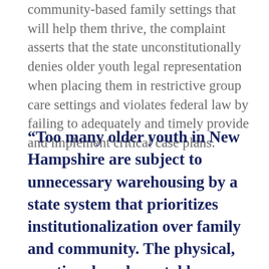community-based family settings that will help them thrive, the complaint asserts that the state unconstitutionally denies older youth legal representation when placing them in restrictive group care settings and violates federal law by failing to adequately and timely provide and implement critical case plans.
“Too many older youth in New Hampshire are subject to unnecessary warehousing by a state system that prioritizes institutionalization over family and community. The physical, emotional, and mental harms associated with placement in congregate settings are well known and lead to tragic outcomes including